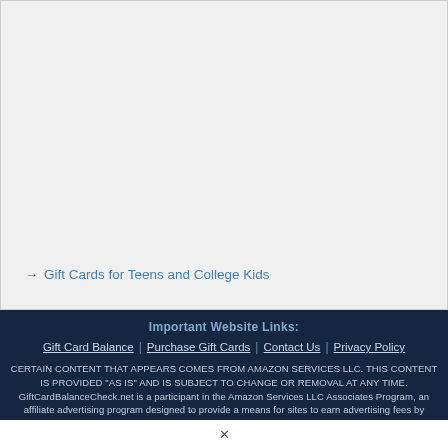[Figure (other): Light gray rectangular content area, partially visible, representing a webpage section or image placeholder]
→ Gift Cards for Teens and College Kids
Important Website Links:
Gift Card Balance | Purchase Gift Cards | Contact Us | Privacy Policy
CERTAIN CONTENT THAT APPEARS COMES FROM AMAZON SERVICES LLC. THIS CONTENT IS PROVIDED "AS IS" AND IS SUBJECT TO CHANGE OR REMOVAL AT ANY TIME. GiftCardBalanceCheck.net is a participant in the Amazon Services LLC Associates Program, an affiliate advertising program designed to provide a means for sites to earn advertising fees by advertising and linking to amazon.com.